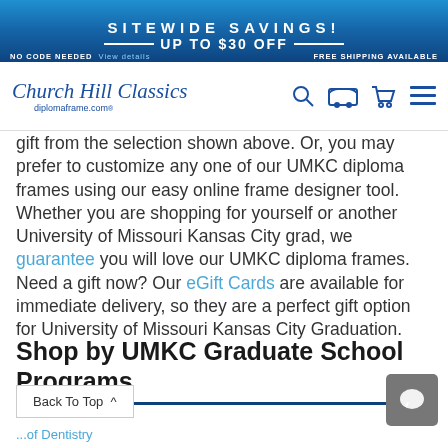SITEWIDE SAVINGS! UP TO $30 OFF — NO CODE NEEDED View details FREE SHIPPING AVAILABLE
[Figure (logo): Church Hill Classics / diplomaframe.com logo with navigation icons (search, shipping, cart, menu)]
gift from the selection shown above. Or, you may prefer to customize any one of our UMKC diploma frames using our easy online frame designer tool. Whether you are shopping for yourself or another University of Missouri Kansas City grad, we guarantee you will love our UMKC diploma frames. Need a gift now? Our eGift Cards are available for immediate delivery, so they are a perfect gift option for University of Missouri Kansas City Graduation.
Shop by UMKC Graduate School Programs
Back To Top ∧
Dentistry